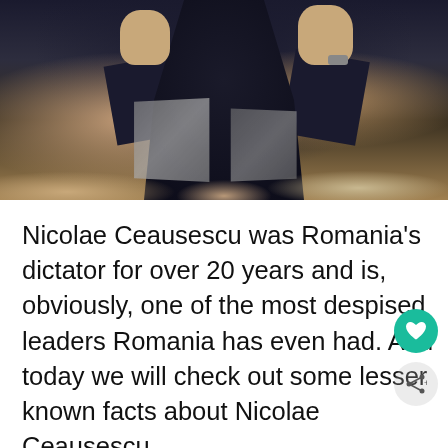[Figure (photo): A person in a dark suit with both fists raised, photographed from below against a dark background with audience members visible]
Nicolae Ceausescu was Romania's dictator for over 20 years and is, obviously, one of the most despised leaders Romania has even had. And today we will check out some lesser known facts about Nicolae Ceausescu.
As strange as it might sound, there are many people living in Romania today who